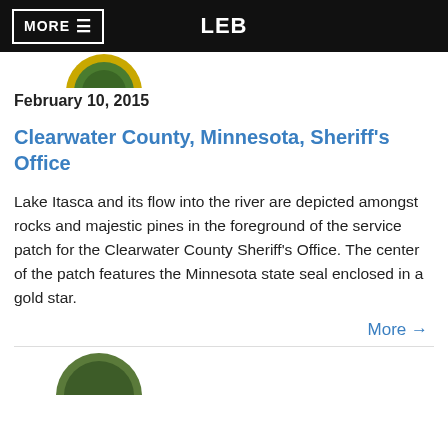MORE ≡   LEB
[Figure (illustration): Partial view of a circular law enforcement badge/patch logo (gold and green colors), cropped at top]
February 10, 2015
Clearwater County, Minnesota, Sheriff's Office
Lake Itasca and its flow into the river are depicted amongst rocks and majestic pines in the foreground of the service patch for the Clearwater County Sheriff's Office. The center of the patch features the Minnesota state seal enclosed in a gold star.
More →
[Figure (illustration): Partial view of another circular law enforcement badge/patch logo (green), cropped at bottom of page]